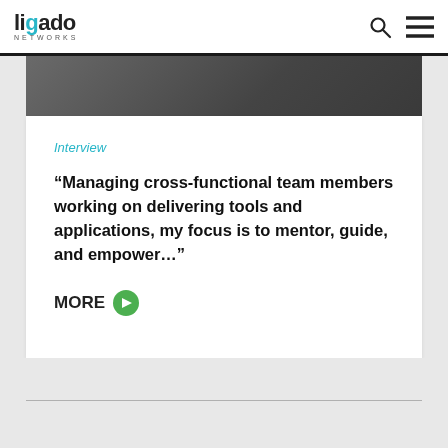ligado NETWORKS
[Figure (photo): Partial photo of person at desk, cropped at bottom, dark tones]
Interview
“Managing cross-functional team members working on delivering tools and applications, my focus is to mentor, guide, and empower…”
MORE ➜